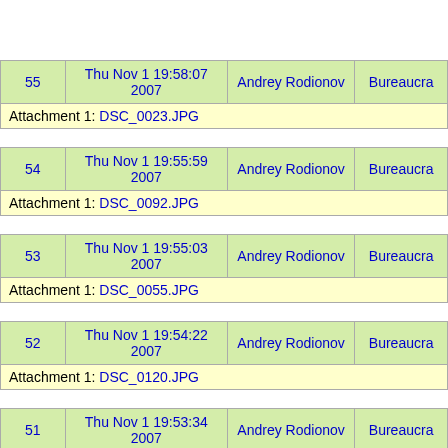| ID | Date | Author | Type |
| --- | --- | --- | --- |
| 55 | Thu Nov 1 19:58:07 2007 | Andrey Rodionov | Bureaucra |
| Attachment 1: DSC_0023.JPG |  |  |  |
| 54 | Thu Nov 1 19:55:59 2007 | Andrey Rodionov | Bureaucra |
| Attachment 1: DSC_0092.JPG |  |  |  |
| 53 | Thu Nov 1 19:55:03 2007 | Andrey Rodionov | Bureaucra |
| Attachment 1: DSC_0055.JPG |  |  |  |
| 52 | Thu Nov 1 19:54:22 2007 | Andrey Rodionov | Bureaucra |
| Attachment 1: DSC_0120.JPG |  |  |  |
| 51 | Thu Nov 1 19:53:34 2007 | Andrey Rodionov | Bureaucra |
| Attachment 1: DSC_0068.JPG |  |  |  |
| 50 | Thu Nov 1 19:52:02 2007 | Andrey Rodionov | Bureaucra |